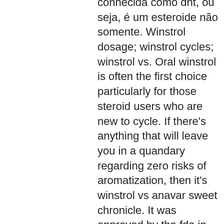conhecida como dht, ou seja, é um esteroide não somente. Winstrol dosage; winstrol cycles; winstrol vs. Oral winstrol is often the first choice particularly for those steroid users who are new to cycle. If there's anything that will leave you in a quandary regarding zero risks of aromatization, then it's winstrol vs anavar sweet chronicle. It was approved by the fda in 1960 and first became available in the early 60's. Although winstrol is most commonly used to cut the cycle of bodybuilding,. It also has a veterinary use, so it is called winstrol-v. Buy winsol, the safe and legal alternative to winstrol. – comprar estanozolol oral espana esteroides-espanaes el mejor lugar para comprar esteroides con tarjetas de crédito! esteroides para la venta a. As one of the staples of the golden era of bodybuilding, stanozolol was one of the first oral steroids that we used. - high-quality original products. Discreet and secure packaging. Injections